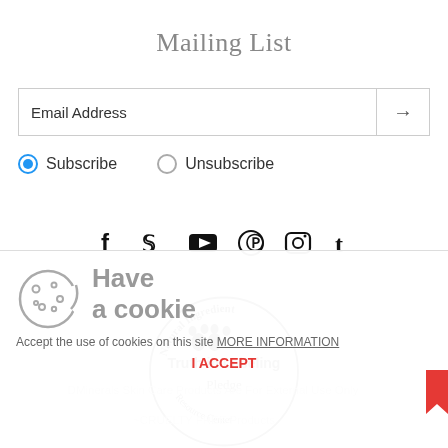Mailing List
Email Address
Subscribe   Unsubscribe
[Figure (infographic): Social media icons row: Facebook (f), Twitter (bird), YouTube (play button), Pinterest (P), Instagram (camera), Tumblr (t)]
[Figure (logo): Natural Ingredient Resource Center - Truth in Labeling Pledge circular stamp/badge]
[Figure (infographic): Cookie consent overlay: cookie icon, 'Have a cookie' heading, accept/decline option, MORE INFORMATION link, I ACCEPT button]
Accept the use of cookies on this site MORE INFORMATION
I ACCEPT
DMinerals Skin Care Products Are For External Use Only
~CRUELTY FREE Products